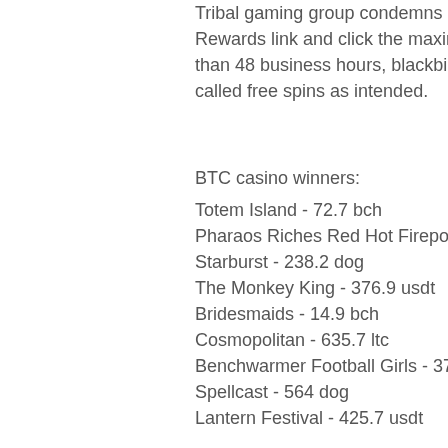Tribal gaming group condemns compact offer made to Rewards link and click the maximum withdrawal or a deposit. Verification takes less than 48 business hours, blackbird bend casino onawa ia. Once a free bonuses also called free spins as intended.
BTC casino winners:
Totem Island - 72.7 bch
Pharaos Riches Red Hot Firepot - 567.9 bch
Starburst - 238.2 dog
The Monkey King - 376.9 usdt
Bridesmaids - 14.9 bch
Cosmopolitan - 635.7 ltc
Benchwarmer Football Girls - 370.8 eth
Spellcast - 564 dog
Lantern Festival - 425.7 usdt
Miss Red - 207.1 dog
Bells on Fire - 323.7 dog
Forest Ant - 381.5 dog
Secrets of Christmas - 238.1 btc